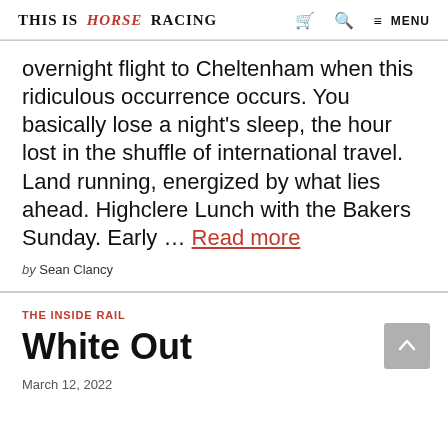THIS IS HORSE RACING  [cart icon]  [search icon]  ≡ MENU
overnight flight to Cheltenham when this ridiculous occurrence occurs. You basically lose a night's sleep, the hour lost in the shuffle of international travel. Land running, energized by what lies ahead. Highclere Lunch with the Bakers Sunday. Early … Read more
by Sean Clancy
THE INSIDE RAIL
White Out
March 12, 2022